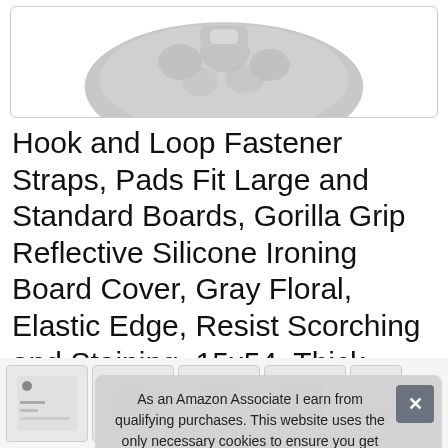[Figure (photo): Product image of gray floral ironing board cover, partially visible at top of page, showing the textured gray floral fabric]
Hook and Loop Fastener Straps, Pads Fit Large and Standard Boards, Gorilla Grip Reflective Silicone Ironing Board Cover, Gray Floral, Elastic Edge, Resist Scorching and Staining, 15x54, Thick Padding
#ad
As an Amazon Associate I earn from qualifying purchases. This website uses the only necessary cookies to ensure you get the best experience on our website. More information
[Figure (screenshot): Bottom row of product thumbnail images partially visible]